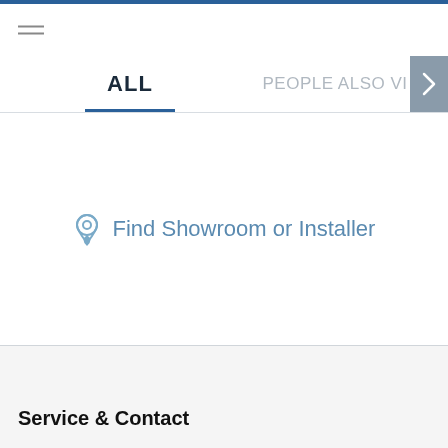≡ (hamburger menu icon)
ALL   PEOPLE ALSO V
📍 Find Showroom or Installer
Service & Contact